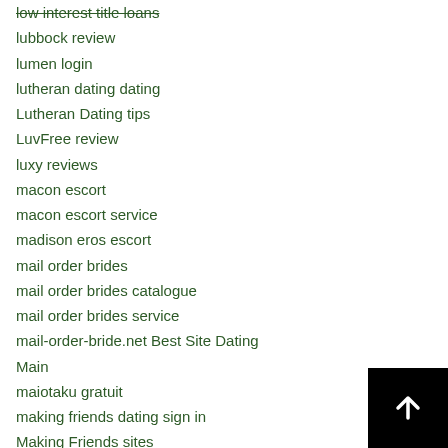low interest title loans
lubbock review
lumen login
lutheran dating dating
Lutheran Dating tips
LuvFree review
luxy reviews
macon escort
macon escort service
madison eros escort
mail order brides
mail order brides catalogue
mail order brides service
mail-order-bride.net Best Site Dating
Main
maiotaku gratuit
making friends dating sign in
Making Friends sites
mamba fr review